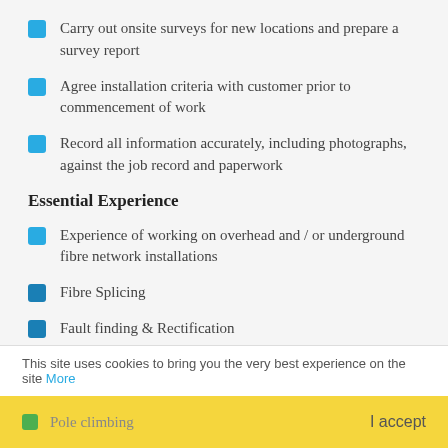Carry out onsite surveys for new locations and prepare a survey report
Agree installation criteria with customer prior to commencement of work
Record all information accurately, including photographs, against the job record and paperwork
Essential Experience
Experience of working on overhead and / or underground fibre network installations
Fibre Splicing
Fault finding & Rectification
OTDR Testing
Telecommunication installations
This site uses cookies to bring you the very best experience on the site More
Pole climbing